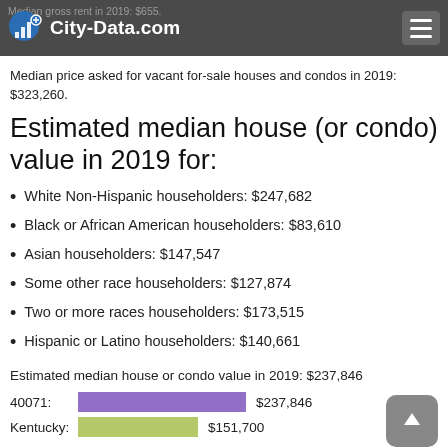City-Data.com
Median price asked for vacant for-sale houses and condos in 2019: $323,260.
Estimated median house (or condo) value in 2019 for:
White Non-Hispanic householders: $247,682
Black or African American householders: $83,610
Asian householders: $147,547
Some other race householders: $127,874
Two or more races householders: $173,515
Hispanic or Latino householders: $140,661
Estimated median house or condo value in 2019: $237,846
[Figure (bar-chart): Estimated median house or condo value 2019]